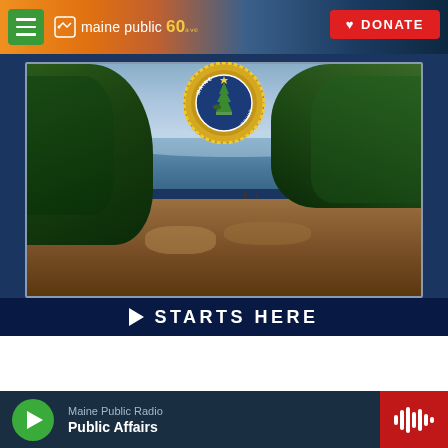maine public 60 | DONATE
[Figure (screenshot): Maine Public Radio website screenshot showing a promotional image of Maine coastline with rocky cliffs, evergreen trees, ocean water, and a Maine state seal medallion. A dark blue banner at the bottom reads '▶ STARTS HERE']
Maine Public Radio
Public Affairs